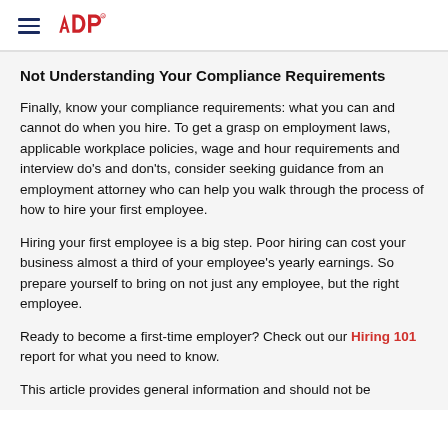ADP
Not Understanding Your Compliance Requirements
Finally, know your compliance requirements: what you can and cannot do when you hire. To get a grasp on employment laws, applicable workplace policies, wage and hour requirements and interview do's and don'ts, consider seeking guidance from an employment attorney who can help you walk through the process of how to hire your first employee.
Hiring your first employee is a big step. Poor hiring can cost your business almost a third of your employee's yearly earnings. So prepare yourself to bring on not just any employee, but the right employee.
Ready to become a first-time employer? Check out our Hiring 101 report for what you need to know.
This article provides general information and should not be...